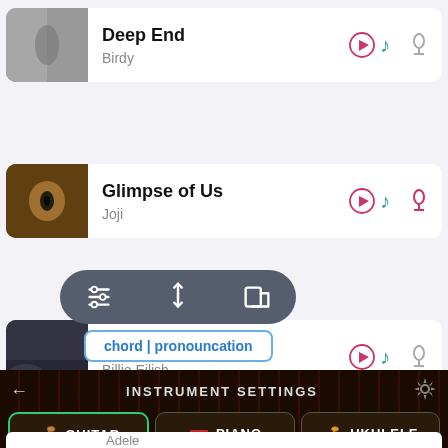Deep End — Birdy
Glimpse of Us — Joji
The 30th — Billie Eilish
Thinkin' Bout You — Katie
[Figure (screenshot): Popup toolbar with filter/sort/layout icons on dark rounded background]
chord | pronouncation
← INSTRUMENT SETTINGS
GUITAR  PIANO  UKULELE
right hand